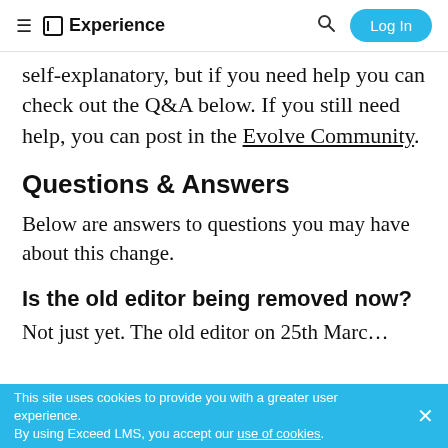≡ Experience | Log In
self-explanatory, but if you need help you can check out the Q&A below. If you still need help, you can post in the Evolve Community.
Questions & Answers
Below are answers to questions you may have about this change.
Is the old editor being removed now?
Not just yet. The old editor on 25th March...
This site uses cookies to provide you with a greater user experience. By using Exceed LMS, you accept our use of cookies.